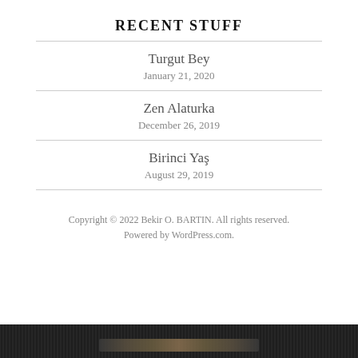Recent Stuff
Turgut Bey
January 21, 2020
Zen Alaturka
December 26, 2019
Birinci Yaş
August 29, 2019
Copyright © 2022 Bekir O. BARTIN. All rights reserved.
Powered by WordPress.com.
[Figure (photo): Dark background photo of a pencil or pen on a wooden surface at the bottom of the page]